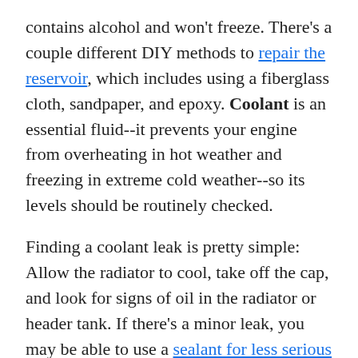contains alcohol and won't freeze. There's a couple different DIY methods to repair the reservoir, which includes using a fiberglass cloth, sandpaper, and epoxy. Coolant is an essential fluid--it prevents your engine from overheating in hot weather and freezing in extreme cold weather--so its levels should be routinely checked.
Finding a coolant leak is pretty simple: Allow the radiator to cool, take off the cap, and look for signs of oil in the radiator or header tank. If there's a minor leak, you may be able to use a sealant for less serious cracks and breaks.
Leaks can pose [Get an offer] to serious problems on your [property] and life. Leaks may also signal the end of the road for your car,